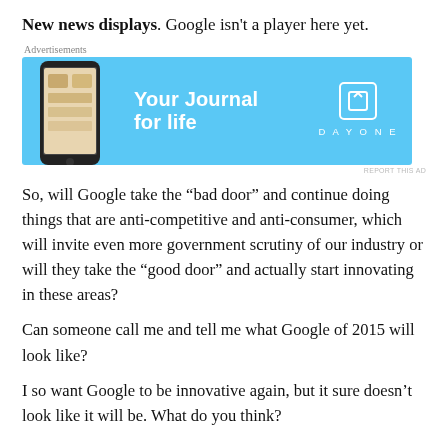New news displays. Google isn't a player here yet.
[Figure (screenshot): Advertisement banner for 'Day One: Your Journal for life' app, showing a phone screenshot on a sky-blue background with the app logo and DAYONE branding.]
So, will Google take the “bad door” and continue doing things that are anti-competitive and anti-consumer, which will invite even more government scrutiny of our industry or will they take the “good door” and actually start innovating in these areas?
Can someone call me and tell me what Google of 2015 will look like?
I so want Google to be innovative again, but it sure doesn’t look like it will be. What do you think?